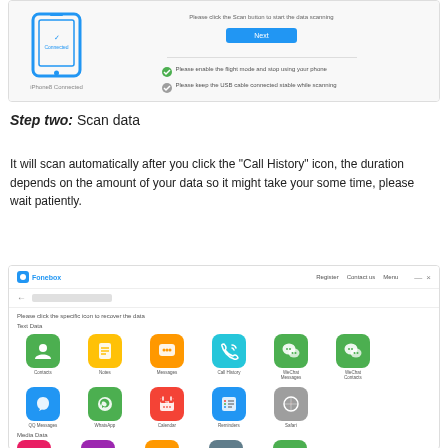[Figure (screenshot): Screenshot of iPhone Data Recovery software showing iPhone Connected screen with a phone icon showing checkmark and 'Connected', a Next button, and two checklist items about enabling flight mode and keeping USB cable connected]
Step two: Scan data
It will scan automatically after you click the “Call History” icon, the duration depends on the amount of your data so it might take your some time, please wait patiently.
[Figure (screenshot): Screenshot of Fonebox software showing a grid of app icons to recover data from including Contacts, Notes, Messages, Call History, WeChat Messages, WeChat Contacts, QQ Messages, WhatsApp, Calendar, Reminders, Safari under Text Data, and partial Media Data section]